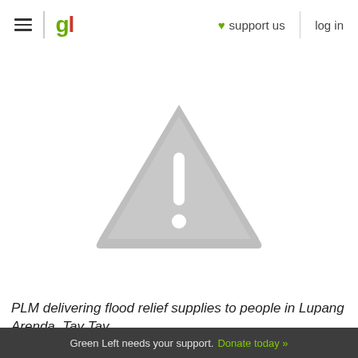gl | ♥ support us | log in
[Figure (illustration): Grey warning triangle with exclamation mark — broken/missing image placeholder]
PLM delivering flood relief supplies to people in Lupang Arenda, Tay Tay.
Green Left needs your support. Donate today »